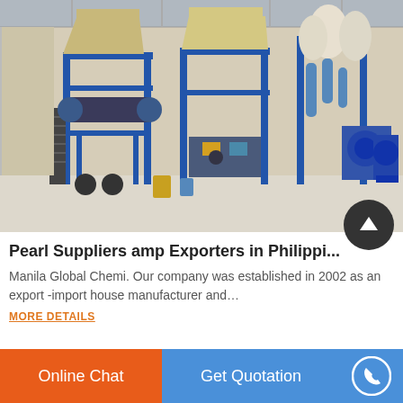[Figure (photo): Industrial machinery in a warehouse/factory setting. Large blue metal frame structures with hoppers, conveyor systems, and dust collection equipment on a white concrete floor with beige walls and a metal roof.]
Pearl Suppliers amp Exporters in Philippi...
Manila Global Chemi. Our company was established in 2002 as an export -import house manufacturer and…
MORE DETAILS